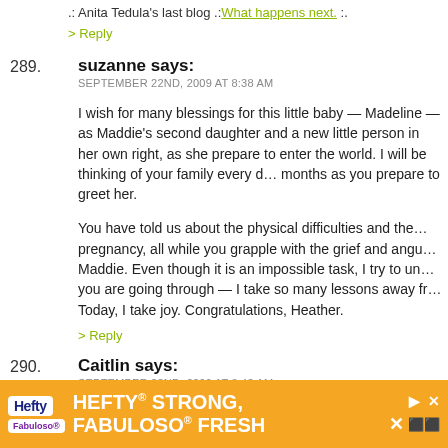. Anita Tedula's last blog .. What happens next. .
> Reply
289. suzanne says: SEPTEMBER 22ND, 2009 AT 8:38 AM
I wish for many blessings for this little baby — Madeline — as Maddie's second daughter and a new little person in her own right, as she prepare to enter the world. I will be thinking of your family every day in the coming months as you prepare to greet her.
You have told us about the physical difficulties and the emotional toll of this pregnancy, all while you grapple with the grief and anguish of losing Maddie. Even though it is an impossible task, I try to understand what you are going through — I take so many lessons away from your experience. Today, I take joy. Congratulations, Heather.
> Reply
290. Caitlin says: SEPTEMBER 22ND, 2009 AT 8:42 AM
[Figure (infographic): Advertisement banner for Hefty Strong, Fabuloso Fresh products]